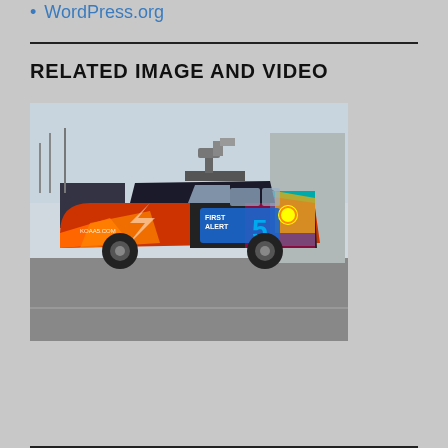WordPress.org
RELATED IMAGE AND VIDEO
[Figure (photo): A news vehicle (Ford Explorer SUV) with a colorful 'First Alert 5' broadcast wrap and equipment mounted on the roof rack, parked in a lot. The vehicle branding includes 'KOAA5.COM' and NBC logos with orange, red, and teal graphics.]